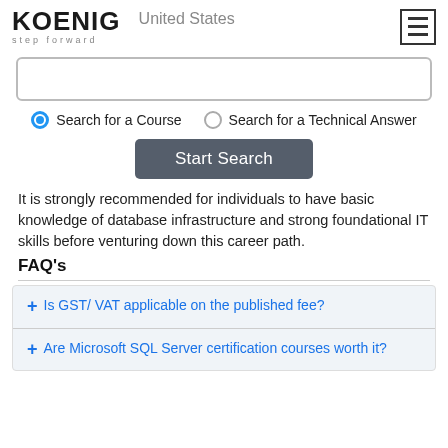[Figure (logo): Koenig logo with 'step forward' tagline and United States text, hamburger menu icon]
Search input box (empty)
Search for a Course  Search for a Technical Answer
Start Search
It is strongly recommended for individuals to have basic knowledge of database infrastructure and strong foundational IT skills before venturing down this career path.
FAQ's
+ Is GST/ VAT applicable on the published fee?
+ Are Microsoft SQL Server certification courses worth it?